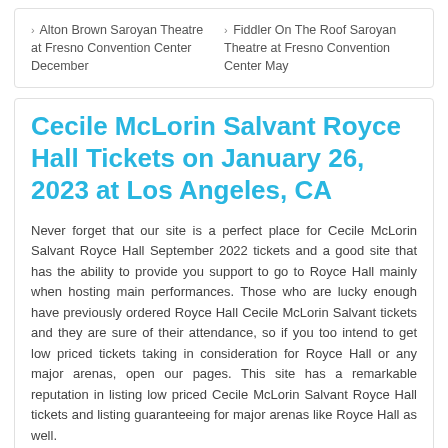Alton Brown Saroyan Theatre at Fresno Convention Center December
Fiddler On The Roof Saroyan Theatre at Fresno Convention Center May
Cecile McLorin Salvant Royce Hall Tickets on January 26, 2023 at Los Angeles, CA
Never forget that our site is a perfect place for Cecile McLorin Salvant Royce Hall September 2022 tickets and a good site that has the ability to provide you support to go to Royce Hall mainly when hosting main performances. Those who are lucky enough have previously ordered Royce Hall Cecile McLorin Salvant tickets and they are sure of their attendance, so if you too intend to get low priced tickets taking in consideration for Royce Hall or any major arenas, open our pages. This site has a remarkable reputation in listing low priced Cecile McLorin Salvant Royce Hall tickets and listing guaranteeing for major arenas like Royce Hall as well.
Royce Hall events
Cecile McLorin Salvant Royce Hall January
Bill T. Jones and Arnie Zane Company Royce Hall November